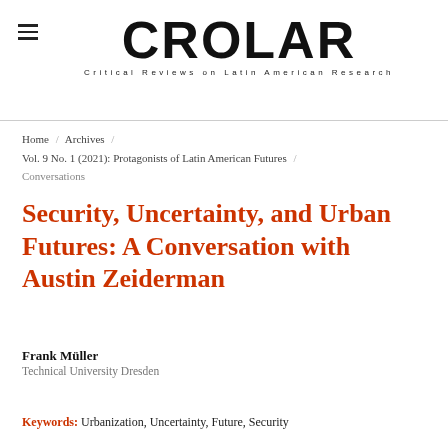CROLAR — Critical Reviews on Latin American Research
Home / Archives / Vol. 9 No. 1 (2021): Protagonists of Latin American Futures / Conversations
Security, Uncertainty, and Urban Futures: A Conversation with Austin Zeiderman
Frank Müller
Technical University Dresden
Keywords: Urbanization, Uncertainty, Future, Security